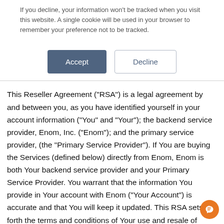If you decline, your information won't be tracked when you visit this website. A single cookie will be used in your browser to remember your preference not to be tracked.
[Figure (other): Accept and Decline cookie consent buttons]
This Reseller Agreement (“RSA”) is a legal agreement by and between you, as you have identified yourself in your account information (“You” and “Your”); the backend service provider, Enom, Inc. (“Enom”); and the primary service provider, (the “Primary Service Provider”). If You are buying the Services (defined below) directly from Enom, Enom is both Your backend service provider and your Primary Service Provider. You warrant that the information You provide in Your account with Enom (“Your Account”) is accurate and that You will keep it updated. This RSA sets forth the terms and conditions of Your use and resale of Enom’s Domain